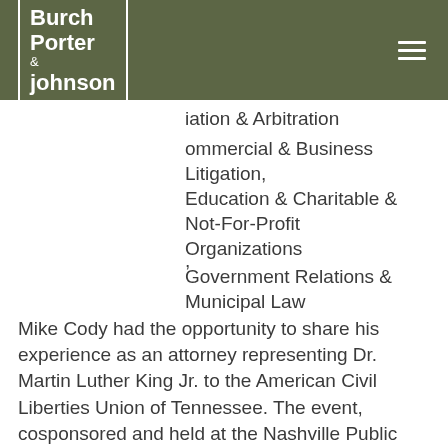Burch Porter & Johnson
iation & Arbitration
ommercial & Business Litigation, Education & Charitable & Not-For-Profit Organizations
Government Relations & Municipal Law
Mike Cody had the opportunity to share his experience as an attorney representing Dr. Martin Luther King Jr. to the American Civil Liberties Union of Tennessee. The event, cosponsored and held at the Nashville Public Library, marked the 50th anniversary of the ACLU-TN. Click here to read the ...